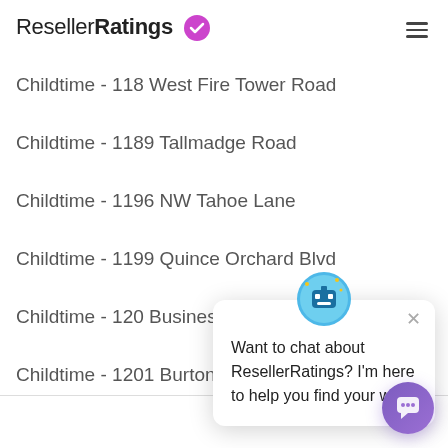ResellerRatings
Childtime - 118 West Fire Tower Road
Childtime - 1189 Tallmadge Road
Childtime - 1196 NW Tahoe Lane
Childtime - 1199 Quince Orchard Blvd
Childtime - 120 Business
Childtime - 1201 Burton
[Figure (screenshot): Chat popup widget with avatar icon and message: Want to chat about ResellerRatings? I'm here to help you find your way.]
[Figure (screenshot): Purple circular chat button in bottom right corner]